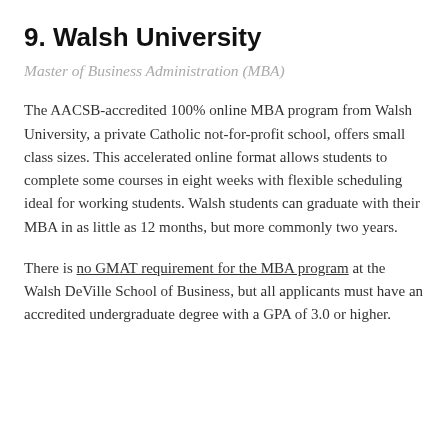9. Walsh University
Master of Business Administration (MBA)
The AACSB-accredited 100% online MBA program from Walsh University, a private Catholic not-for-profit school, offers small class sizes. This accelerated online format allows students to complete some courses in eight weeks with flexible scheduling ideal for working students. Walsh students can graduate with their MBA in as little as 12 months, but more commonly two years.
There is no GMAT requirement for the MBA program at the Walsh DeVille School of Business, but all applicants must have an accredited undergraduate degree with a GPA of 3.0 or higher.